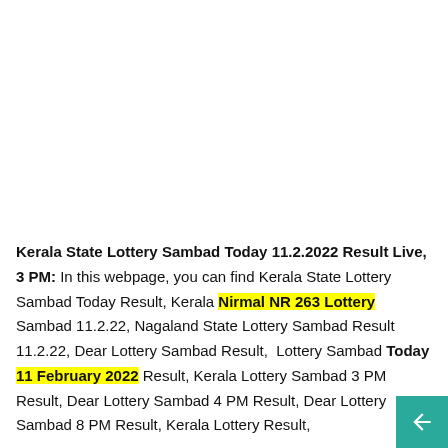Kerala State Lottery Sambad Today 11.2.2022 Result Live, 3 PM: In this webpage, you can find Kerala State Lottery Sambad Today Result, Kerala Nirmal NR 263 Lottery Sambad 11.2.22, Nagaland State Lottery Sambad Result 11.2.22, Dear Lottery Sambad Result, Lottery Sambad Today 11 February 2022 Result, Kerala Lottery Sambad 3 PM Result, Dear Lottery Sambad 4 PM Result, Dear Lottery Sambad 8 PM Result, Kerala Lottery Result,